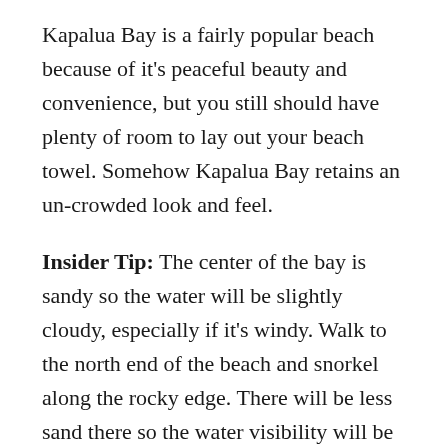Kapalua Bay is a fairly popular beach because of it's peaceful beauty and convenience, but you still should have plenty of room to lay out your beach towel.  Somehow Kapalua Bay retains an un-crowded look and feel.
Insider Tip: The center of the bay is sandy so the water will be slightly cloudy, especially if it's windy.  Walk to the north end of the beach and snorkel along the rocky edge.  There will be less sand there so the water visibility will be better and there will be much more fish.  The depth along the northern edge is about 10 feet or less,